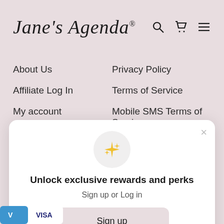[Figure (logo): Jane's Agenda script logo with registered trademark symbol]
About Us
Privacy Policy
Affiliate Log In
Terms of Service
My account
Mobile SMS Terms of Service
Shipping Information
[Figure (screenshot): Modal popup with sparkles icon, 'Unlock exclusive rewards and perks' heading, 'Sign up or Log in' subtitle, Sign up button, and 'Already have an account? Sign in' footer link]